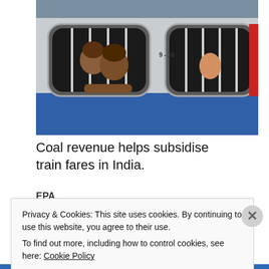[Figure (photo): Children looking out from barred windows of an Indian train passenger car, blue and white, with label 9-16 visible on the carriage.]
Coal revenue helps subsidise train fares in India.
EPA
Privacy & Cookies: This site uses cookies. By continuing to use this website, you agree to their use.
To find out more, including how to control cookies, see here: Cookie Policy
Close and accept